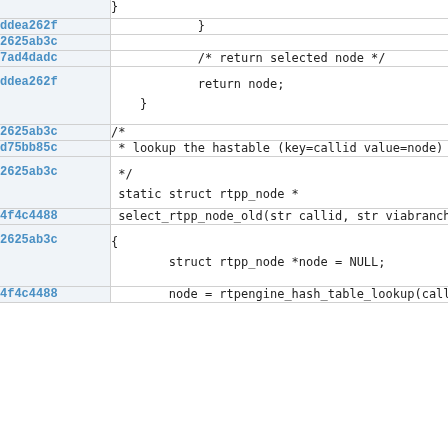| hash | code |
| --- | --- |
|  | } |
| ddea262f | } |
| 2625ab3c |  |
| 7ad4dadc | /* return selected node */ |
| ddea262f | return node;
} |
| 2625ab3c | /* |
| d75bb85c | * lookup the hastable (key=callid value=node) an |
| 2625ab3c | */
static struct rtpp_node * |
| 4f4c4488 | select_rtpp_node_old(str callid, str viabranch, i |
| 2625ab3c | {
        struct rtpp_node *node = NULL; |
| 4f4c4488 | node = rtpengine_hash_table_lookup(callid, |